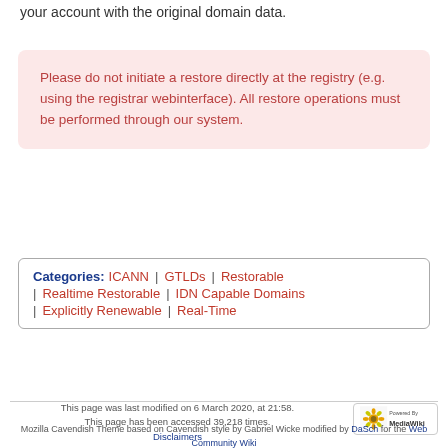your account with the original domain data.
Please do not initiate a restore directly at the registry (e.g. using the registrar webinterface). All restore operations must be performed through our system.
Categories: ICANN | GTLDs | Restorable | Realtime Restorable | IDN Capable Domains | Explicitly Renewable | Real-Time
This page was last modified on 6 March 2020, at 21:58. This page has been accessed 39,218 times. Disclaimers
Mozilla Cavendish Theme based on Cavendish style by Gabriel Wicke modified by DaSch for the Web Community Wiki github Projectpage – Report Bug – Skin-Version: 1.6.4